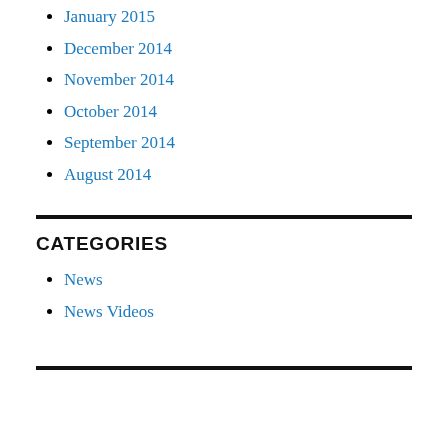January 2015
December 2014
November 2014
October 2014
September 2014
August 2014
CATEGORIES
News
News Videos